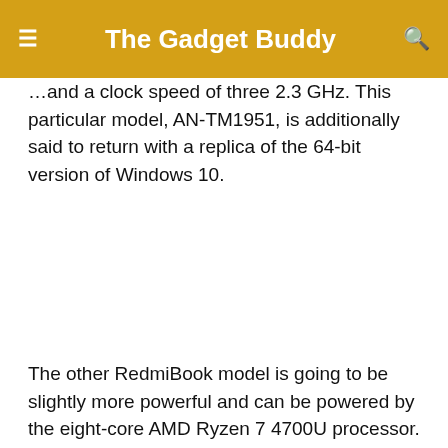The Gadget Buddy
...and a clock speed of three 2.3 GHz. This particular model, AN-TM1951, is additionally said to return with a replica of the 64-bit version of Windows 10.
The other RedmiBook model is going to be slightly more powerful and can be powered by the eight-core AMD Ryzen 7 4700U processor. This processor will bring a core clock of two 7GHz and the...